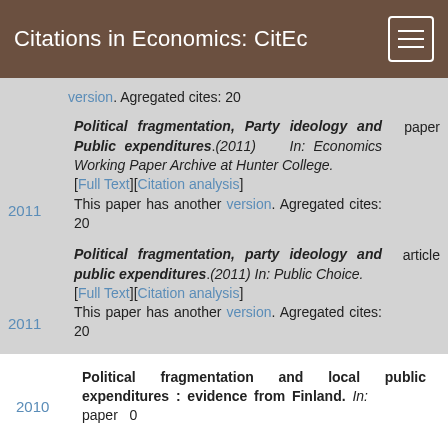Citations in Economics: CitEc
version. Agregated cites: 20
Political fragmentation, Party ideology and Public expenditures.(2011) In: Economics Working Paper Archive at Hunter College. [Full Text][Citation analysis] This paper has another version. Agregated cites: 20 — 2011 — paper
Political fragmentation, party ideology and public expenditures.(2011) In: Public Choice. [Full Text][Citation analysis] This paper has another version. Agregated cites: 20 — 2011 — article
Political fragmentation and local public expenditures : evidence from Finland. In: paper — 2010